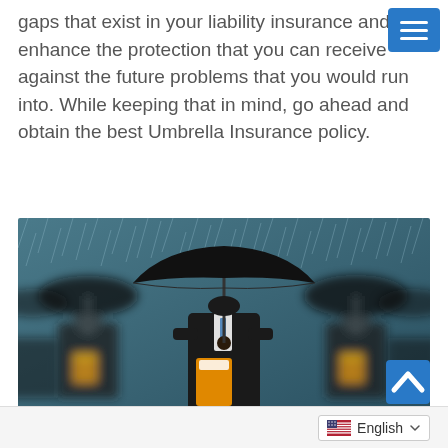gaps that exist in your liability insurance and enhance the protection that you can receive against the future problems that you would run into. While keeping that in mind, go ahead and obtain the best Umbrella Insurance policy.
[Figure (photo): Businessmen in suits holding black umbrellas and orange folders in the rain, representing umbrella insurance coverage.]
English